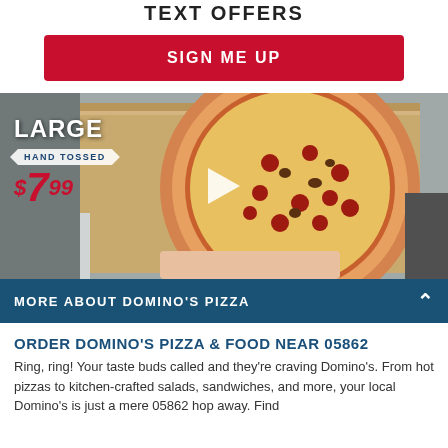TEXT OFFERS
SIGN ME UP
[Figure (photo): Photo of a large Domino's pizza in an open box, with promotional overlay text: LARGE HAND TOSSED $7.99, and a play button in the center.]
MORE ABOUT DOMINO'S PIZZA
ORDER DOMINO'S PIZZA & FOOD NEAR 05862
Ring, ring! Your taste buds called and they're craving Domino's. From hot pizzas to kitchen-crafted salads, sandwiches, and more, your local Domino's is just a mere 05862 hop away. Find